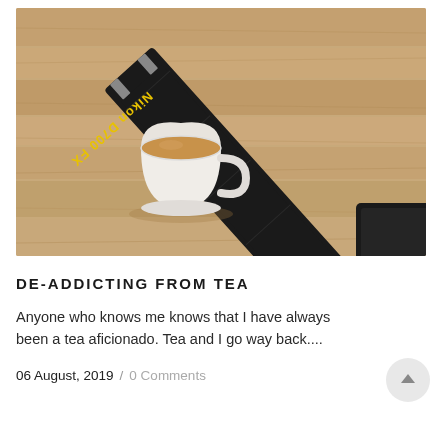[Figure (photo): Top-down photo of a white cup of tea with milky tea on a wooden floor, alongside a Nikon D700 FX camera strap in black with yellow lettering.]
DE-ADDICTING FROM TEA
Anyone who knows me knows that I have always been a tea aficionado. Tea and I go way back....
06 August, 2019 / 0 Comments